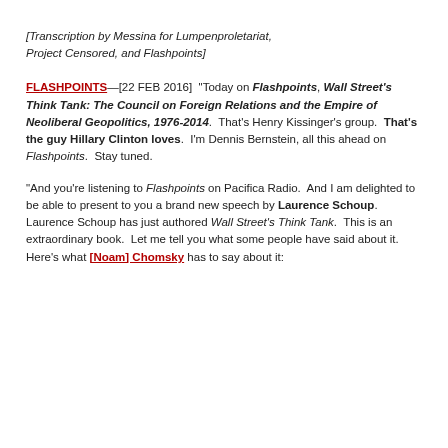[Transcription by Messina for Lumpenproletariat, Project Censored, and Flashpoints]
FLASHPOINTS—[22 FEB 2016]  "Today on Flashpoints, Wall Street's Think Tank: The Council on Foreign Relations and the Empire of Neoliberal Geopolitics, 1976-2014.  That's Henry Kissinger's group.  That's the guy Hillary Clinton loves.  I'm Dennis Bernstein, all this ahead on Flashpoints.  Stay tuned.
"And you're listening to Flashpoints on Pacifica Radio.  And I am delighted to be able to present to you a brand new speech by Laurence Schoup.  Laurence Schoup has just authored Wall Street's Think Tank.  This is an extraordinary book.  Let me tell you what some people have said about it.  Here's what [Noam] Chomsky has to say about it: